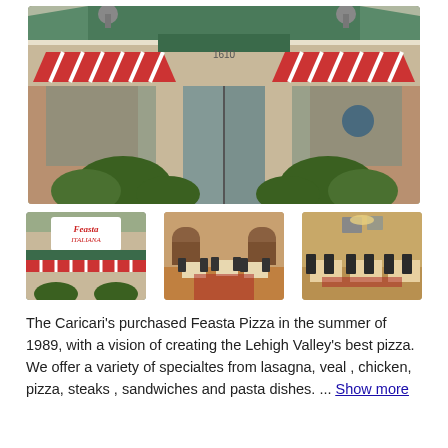[Figure (photo): Exterior front view of Feasta Italiana restaurant with green metal roof, red and white striped awnings over windows and entrance, brick facade, bushes along front, glass double doors with address number 1610.]
[Figure (photo): Thumbnail: Exterior of Feasta Italiana restaurant showing sign with red cursive text, green awning, striped awnings.]
[Figure (photo): Thumbnail: Interior dining room with tables and black chairs, arched doorways, warm lighting.]
[Figure (photo): Thumbnail: Interior dining room with square tables, black chairs, hardwood-style flooring and pendant light.]
The Caricari's purchased Feasta Pizza in the summer of 1989, with a vision of creating the Lehigh Valley's best pizza. We offer a variety of specialtes from lasagna, veal , chicken, pizza, steaks , sandwiches and pasta dishes. ... Show more